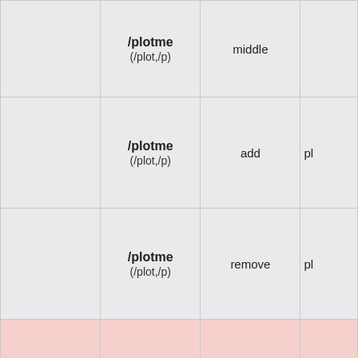|  | Command | Sub-command | ... |
| --- | --- | --- | --- |
|  | /plotme
(/plot,/p) | middle |  |
|  | /plotme
(/plot,/p) | add | pl |
|  | /plotme
(/plot,/p) | remove | pl |
|  | /plotme
(/plot,/p) | protect |  |
| Coming Soon | /plotme
(/plot,/p) | name | n |